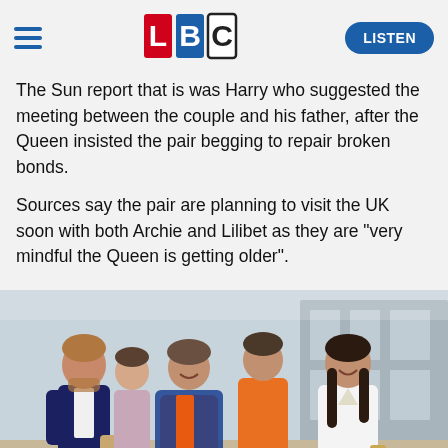LBC — LISTEN
The Sun report that is was Harry who suggested the meeting between the couple and his father, after the Queen insisted the pair begging to repair broken bonds.
Sources say the pair are planning to visit the UK soon with both Archie and Lilibet as they are "very mindful the Queen is getting older".
[Figure (photo): Photo of Prince Harry in a navy suit, a woman in a blue jacket and orange shirt, a man in an orange hoodie, and Meghan Markle in a white blazer and white trousers, walking outdoors at what appears to be the Invictus Games.]